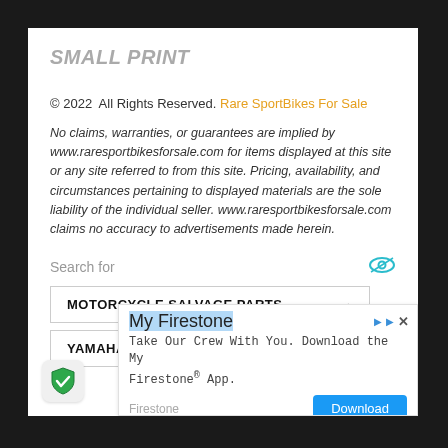SMALL PRINT
© 2022  All Rights Reserved. Rare SportBikes For Sale
No claims, warranties, or guarantees are implied by www.raresportbikesforsale.com for items displayed at this site or any site referred to from this site. Pricing, availability, and circumstances pertaining to displayed materials are the sole liability of the individual seller. www.raresportbikesforsale.com claims no accuracy to advertisements made herein.
Search for
MOTORCYCLE SALVAGE PARTS →
YAMAHA MOTORCYCLE PARTS →
[Figure (screenshot): My Firestone advertisement with download button. Text: Take Our Crew With You. Download the My Firestone® App. Brand: Firestone. Button: Download]
[Figure (logo): Green shield/checkmark badge icon in bottom left corner]